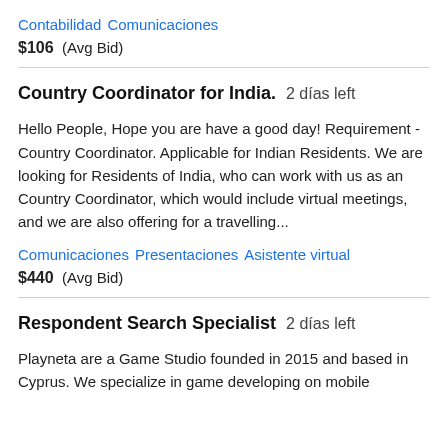Contabilidad   Comunicaciones
$106  (Avg Bid)
Country Coordinator for India.  2 días left
Hello People, Hope you are have a good day! Requirement - Country Coordinator. Applicable for Indian Residents. We are looking for Residents of India, who can work with us as an Country Coordinator, which would include virtual meetings, and we are also offering for a travelling...
Comunicaciones   Presentaciones   Asistente virtual
$440  (Avg Bid)
Respondent Search Specialist  2 días left
Playneta are a Game Studio founded in 2015 and based in Cyprus. We specialize in game developing on mobile